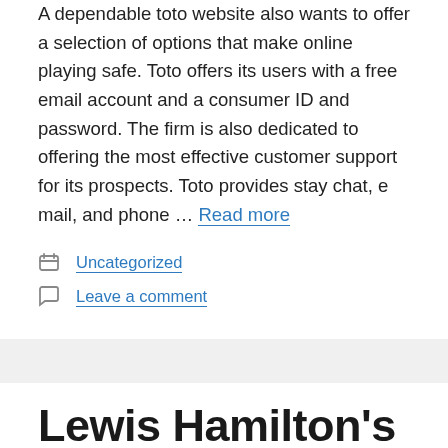A dependable toto website also wants to offer a selection of options that make online playing safe. Toto offers its users with a free email account and a consumer ID and password. The firm is also dedicated to offering the most effective customer support for its prospects. Toto provides stay chat, e mail, and phone … Read more
Uncategorized
Leave a comment
Lewis Hamilton's 'eyeballs Are Coming